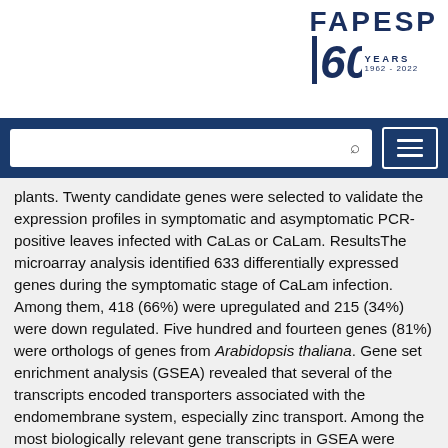[Figure (logo): FAPESP 60 Years logo (1962-2022) in dark navy blue]
plants. Twenty candidate genes were selected to validate the expression profiles in symptomatic and asymptomatic PCR-positive leaves infected with CaLas or CaLam. ResultsThe microarray analysis identified 633 differentially expressed genes during the symptomatic stage of CaLam infection. Among them, 418 (66%) were upregulated and 215 (34%) were down regulated. Five hundred and fourteen genes (81%) were orthologs of genes from Arabidopsis thaliana. Gene set enrichment analysis (GSEA) revealed that several of the transcripts encoded transporters associated with the endomembrane system, especially zinc transport. Among the most biologically relevant gene transcripts in GSEA were those related to signaling, metabolism and/or stimulus to hormones, genes responding to stress and pathogenesis, biosynthesis of secondary metabolites, oxidative stress and transcription factors belonging to different families. Real time PCR of 20 candidate genes validated the expression pattern of some genes in symptomatic and asymptomatic leaves infected with